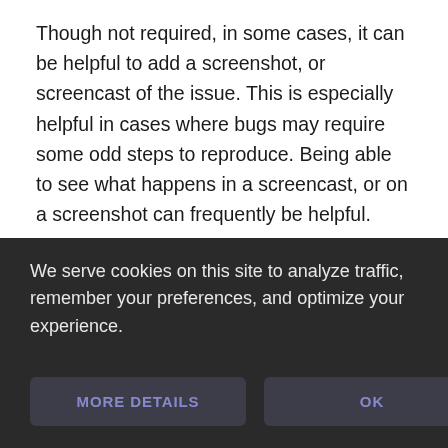Though not required, in some cases, it can be helpful to add a screenshot, or screencast of the issue. This is especially helpful in cases where bugs may require some odd steps to reproduce. Being able to see what happens in a screencast, or on a screenshot can frequently be helpful.
Include details of the environment
We serve cookies on this site to analyze traffic, remember your preferences, and optimize your experience.
MORE DETAILS
OK